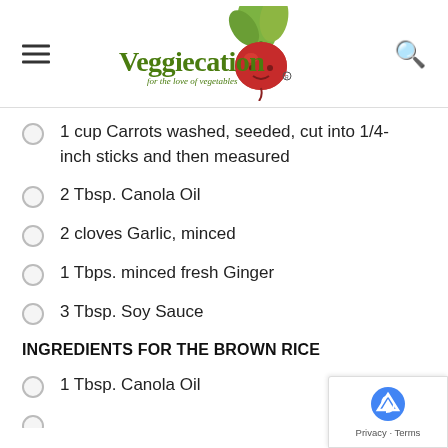Veggiecation for the love of vegetables
1 cup Carrots washed, seeded, cut into 1/4-inch sticks and then measured
2 Tbsp. Canola Oil
2 cloves Garlic, minced
1 Tbps. minced fresh Ginger
3 Tbsp. Soy Sauce
INGREDIENTS FOR THE BROWN RICE
1 Tbsp. Canola Oil